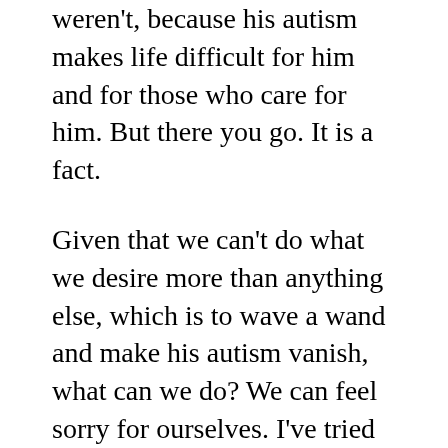wish that he weren't, because his autism makes life difficult for him and for those who care for him. But there you go. It is a fact.
Given that we can't do what we desire more than anything else, which is to wave a wand and make his autism vanish, what can we do? We can feel sorry for ourselves. I've tried that one a lot. It hasn't helped (not yet, anyway!). We can hope the world will spontaneously get better, but as they say in the Army, hope isn't a plan. There's nothing wrong with hope, but